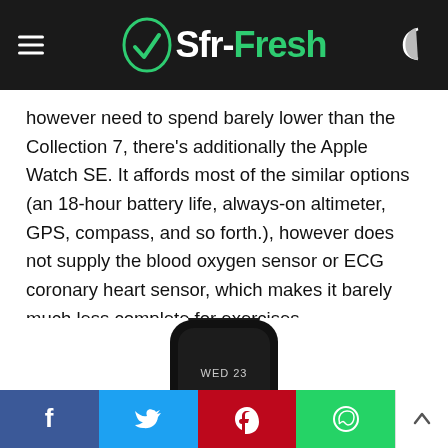Sfr-Fresh
however need to spend barely lower than the Collection 7, there's additionally the Apple Watch SE. It affords most of the similar options (an 18-hour battery life, always-on altimeter, GPS, compass, and so forth.), however does not supply the blood oxygen sensor or ECG coronary heart sensor, which makes it barely much less complete for exercises.
[Figure (photo): Apple Watch shown from front with black band, displaying WED 23 on screen]
Social share bar: Facebook, Twitter, Pinterest, WhatsApp, Scroll Up